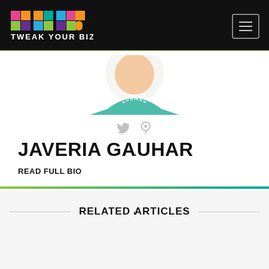TWEAK YOUR BIZ
[Figure (illustration): Partial avatar/profile illustration showing a person with teal/green collar against white background, bottom half only visible]
JAVERIA GAUHAR
READ FULL BIO
RELATED ARTICLES